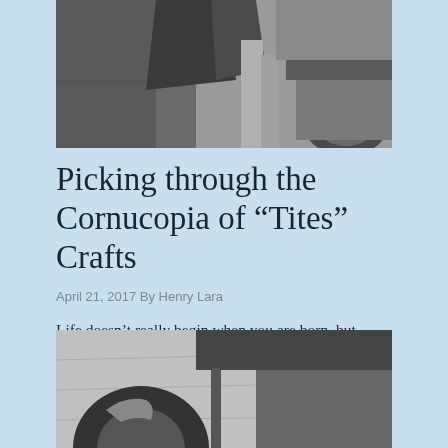[Figure (photo): Black and white photograph showing a person standing near a car, cropped at the top portion]
Picking through the Cornucopia of “Tites” Crafts
April 21, 2017 By Henry Lara
Life doesn’t really begin when you are born, but rather when you master a craft or a number of them. In the case of…
[Figure (photo): Black and white photograph showing an architectural detail with a large circular or curved sculptural element against a building and sky]